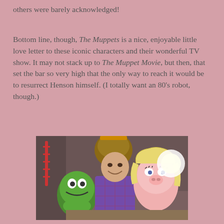others were barely acknowledged!
Bottom line, though, The Muppets is a nice, enjoyable little love letter to these iconic characters and their wonderful TV show. It may not stack up to The Muppet Movie, but then, that set the bar so very high that the only way to reach it would be to resurrect Henson himself. (I totally want an 80's robot, though.)
[Figure (photo): A man in a plaid shirt sitting at a table smiling, with Kermit the Frog on the left and Miss Piggy on the right. In the background are more Muppet characters and a film set environment.]